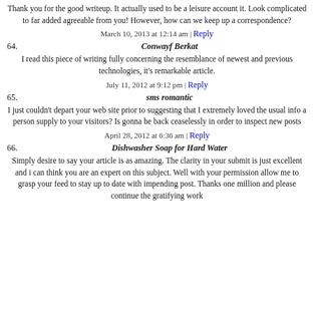Thank you for the good writeup. It actually used to be a leisure account it. Look complicated to far added agreeable from you! However, how can we keep up a correspondence?
March 10, 2013 at 12:14 am | Reply
64. Conwayf Berkat
I read this piece of writing fully concerning the resemblance of newest and previous technologies, it's remarkable article.
July 11, 2012 at 9:12 pm | Reply
65. sms romantic
I just couldn't depart your web site prior to suggesting that I extremely loved the usual info a person supply to your visitors? Is gonna be back ceaselessly in order to inspect new posts
April 28, 2012 at 6:36 am | Reply
66. Dishwasher Soap for Hard Water
Simply desire to say your article is as amazing. The clarity in your submit is just excellent and i can think you are an expert on this subject. Well with your permission allow me to grasp your feed to stay up to date with impending post. Thanks one million and please continue the gratifying work